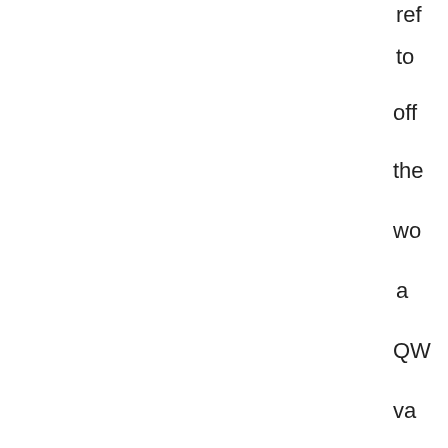ref
to
offe
the
wo
a
QW
va
of
the
iPh
- a
ma
No
sho
ow
an
Ap